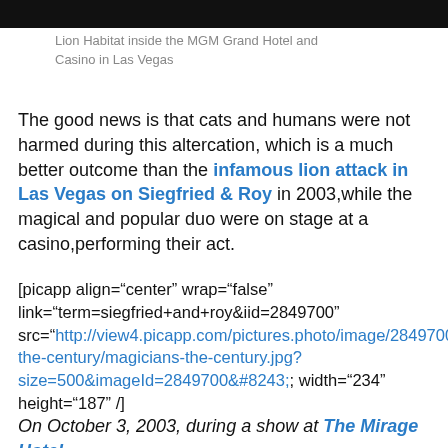[Figure (photo): Dark image strip at top, appears to be a lion habitat photo]
Lion Habitat inside the MGM Grand Hotel and Casino in Las Vegas
The good news is that cats and humans were not harmed during this altercation, which is a much better outcome than the infamous lion attack in Las Vegas on Siegfried & Roy in 2003,while the magical and popular duo were on stage at a casino,performing their act.
[picapp align="center" wrap="false" link="term=siegfried+and+roy&iid=2849700" src="http://view4.picapp.com/pictures.photo/image/2849700/magicians-the-century/magicians-the-century.jpg?size=500&imageId=2849700&#8243; width="234" height="187" /]
On October 3, 2003, during a show at The Mirage Hotel